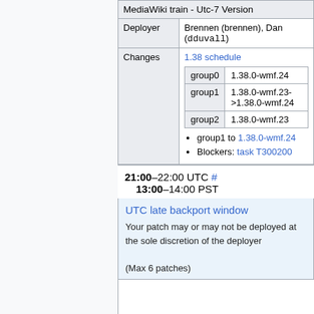| MediaWiki train - Utc-7 Version |
| Deployer | Brennen (brennen), Dan (dduvall) |
| Changes | 1.38 schedule
group0: 1.38.0-wmf.24
group1: 1.38.0-wmf.23->1.38.0-wmf.24
group2: 1.38.0-wmf.23
• group1 to 1.38.0-wmf.24
• Blockers: task T300200 |
21:00–22:00 UTC # 13:00–14:00 PST
UTC late backport window
Your patch may or may not be deployed at the sole discretion of the deployer
(Max 6 patches)